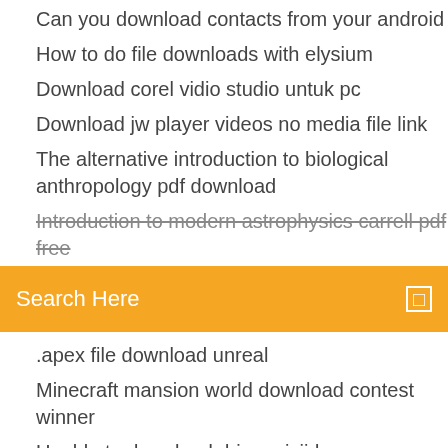Can you download contacts from your android
How to do file downloads with elysium
Download corel vidio studio untuk pc
Download jw player videos no media file link
The alternative introduction to biological anthropology pdf download
Introduction to modern astrophysics carrell pdf free (strikethrough/cut off)
[Figure (other): Orange search bar with text 'Search Here' and a search icon on the right]
.apex file download unreal
Minecraft mansion world download contest winner
Unable to download driver niviida
Old versions of incredimail free download
At Macworld 2008 (January 14–18), Steve Jobs introduced the MacBook Air — touted as the world's thinnest notebook computer; the Time Capsule device for use with the Time Machine application in Mac OS X 10.5 "Leopard", iPod Touch updates...